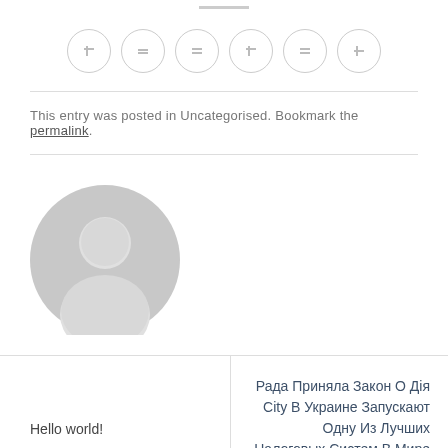[Figure (illustration): Six circular social media icon buttons arranged in a row, each with a small icon inside, with a short horizontal bar above them]
This entry was posted in Uncategorised. Bookmark the permalink.
[Figure (illustration): Gray circular avatar placeholder image showing a generic person silhouette]
Hello world!
Рада Приняла Закон О Дія City В Украине Запускают Одну Из Лучших Налоговых Систем В Мире Для It